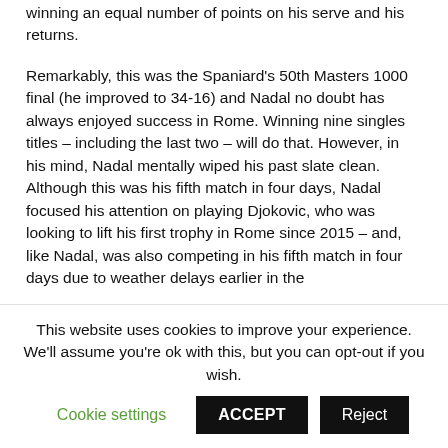winning an equal number of points on his serve and his returns.
Remarkably, this was the Spaniard's 50th Masters 1000 final (he improved to 34-16) and Nadal no doubt has always enjoyed success in Rome. Winning nine singles titles – including the last two – will do that. However, in his mind, Nadal mentally wiped his past slate clean. Although this was his fifth match in four days, Nadal focused his attention on playing Djokovic, who was looking to lift his first trophy in Rome since 2015 – and, like Nadal, was also competing in his fifth match in four days due to weather delays earlier in the
This website uses cookies to improve your experience. We'll assume you're ok with this, but you can opt-out if you wish.